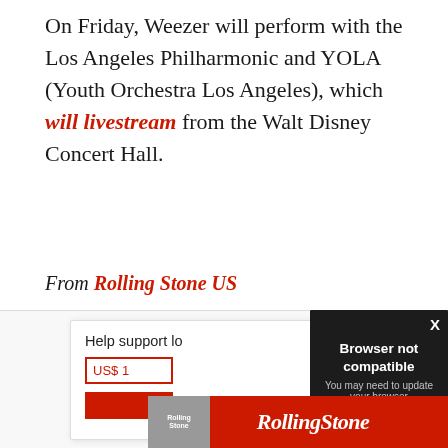On Friday, Weezer will perform with the Los Angeles Philharmonic and YOLA (Youth Orchestra Los Angeles), which will livestream from the Walt Disney Concert Hall.
From Rolling Stone US
[Figure (screenshot): Screenshot of a webpage with a partially visible subscription widget showing 'Help support lo...' and 'US$ 1' in a red-bordered input, plus a red button. Overlaid by a dark modal popup with title 'Browser not compatible', subtitle 'You may need to update your browser', and a blue underlined link 'Report ID: 1gbuc866f2s869q55aj'. An X close button appears in the top right of the dark modal. A Rolling Stone magazine advertisement banner is visible at the bottom.]